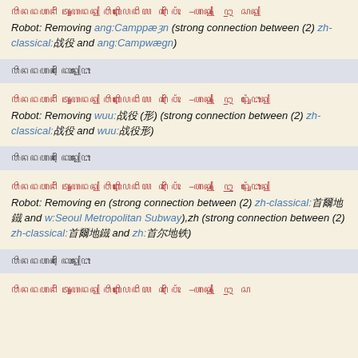ꦥꦶꦤꦢꦲꦤꦶꦁ ꦠꦸꦭꦢꦤ꧀ ꦮꦶꦏꦶꦥꦺꦢꦶꦪ  ꦱꦶꦁ ꦮꦺꦴꦁ  −ꦲꦤ꧀  ꦻꦈ  ꦱꦤ꧀
Robot: Removing ang:Camppæȝn (strong connection between (2) zh-classical:战役 and ang:Campwægn)
ꦥꦶꦤꦢꦲꦤꦶꦁ ꦢꦺꦴꦤ꧀ꦔꦺꦴ
ꦥꦶꦤꦢꦲꦤꦶꦁ ꦠꦸꦭꦢꦤ꧀ ꦮꦶꦏꦶꦥꦺꦢꦶꦪ  ꦱꦶꦁ ꦮꦺꦴꦁ  −ꦲꦤ꧀  ꦻꦈ  ꦢꦸꦁꦔꦺꦴꦤ꧀
Robot: Removing wuu:战役 (形) (strong connection between (2) zh-classical:战役 and wuu:战役形)
ꦥꦶꦤꦢꦲꦤꦶꦁ ꦢꦺꦴꦤ꧀ꦔꦺꦴ
ꦥꦶꦤꦢꦲꦤꦶꦁ ꦠꦸꦭꦢꦤ꧀ ꦮꦶꦏꦶꦥꦺꦢꦶꦪ  ꦱꦶꦁ ꦮꦺꦴꦁ  −ꦲꦤ꧀  ꦻꦈ  ꦢꦸꦁꦔꦺꦴꦤ꧀
Robot: Removing en (strong connection between (2) zh-classical:首爾地鐵 and w:Seoul Metropolitan Subway),zh (strong connection between (2) zh-classical:首爾地鐵 and zh:首尔地铁)
ꦥꦶꦤꦢꦲꦤꦶꦁ ꦢꦺꦴꦤ꧀ꦔꦺꦴ
ꦥꦶꦤꦢꦲꦤꦶꦁ ꦠꦸꦭꦢꦤ꧀ ꦮꦶꦏꦶꦥꦺꦢꦶꦪ  ꦱꦶꦁ ꦮꦺꦴꦁ  −ꦲꦤ꧀  ꦻꦈ  ꦱ